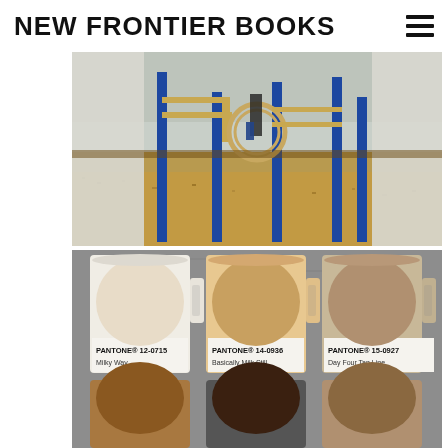NEW FRONTIER BOOKS
[Figure (photo): Outdoor playground with blue metal poles, rope climbing structure, and wood chip ground cover. A person is partially visible on the equipment.]
[Figure (photo): Three coffee mugs photographed from above on a gray concrete surface, each with a Pantone color swatch label. Left mug: PANTONE 12-0715 Milky Way (very light coffee). Middle mug: PANTONE 14-0936 Basically Milk Still (medium-light coffee). Right mug: PANTONE 15-0927 Day Four Tan Line (medium coffee). Below are three partially visible darker mugs.]